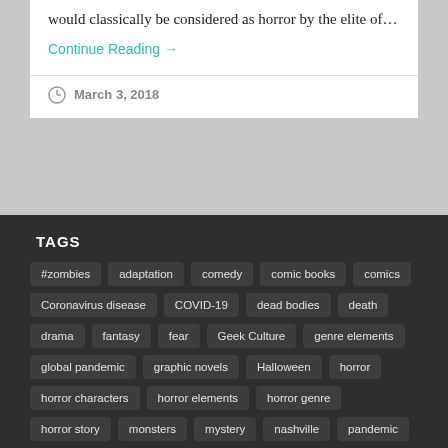would classically be considered as horror by the elite of…
Continue Reading →
March 3, 2018
TAGS
#zombies
adaptation
comedy
comic books
comics
Coronavirus disease
COVID-19
dead bodies
death
drama
fantasy
fear
Geek Culture
genre elements
global pandemic
graphic novels
Halloween
horror
horror characters
horror elements
horror genre
horror story
monsters
mystery
nashville
pandemic